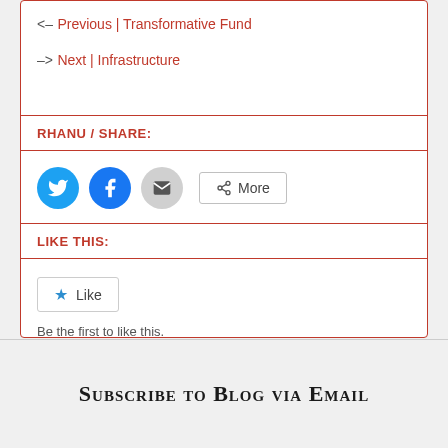<- Previous | Transformative Fund
-> Next | Infrastructure
RHANU / SHARE:
[Figure (other): Social sharing buttons: Twitter (blue circle), Facebook (blue circle), Email (gray circle), and More button]
LIKE THIS:
[Figure (other): Like button with star icon and text 'Be the first to like this.']
Subscribe to Blog via Email